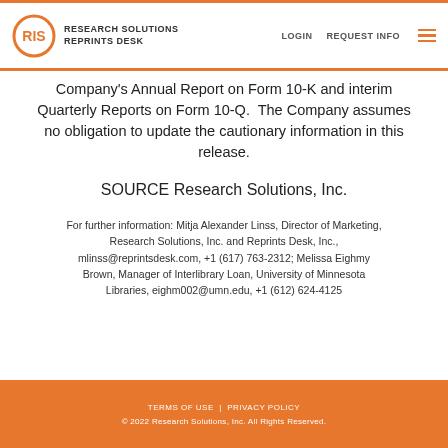RESEARCH SOLUTIONS REPRINTS DESK | LOGIN | REQUEST INFO
Company's Annual Report on Form 10-K and interim Quarterly Reports on Form 10-Q.  The Company assumes no obligation to update the cautionary information in this release.
SOURCE Research Solutions, Inc.
For further information: Mitja Alexander Linss, Director of Marketing, Research Solutions, Inc. and Reprints Desk, Inc., mlinss@reprintsdesk.com, +1 (617) 763-2312; Melissa Eighmy Brown, Manager of Interlibrary Loan, University of Minnesota Libraries, eighm002@umn.edu, +1 (612) 624-4125
TERMS OF USE | PRIVACY POLICY
© 2022 Research Solutions, Inc. All Rights Reserved.